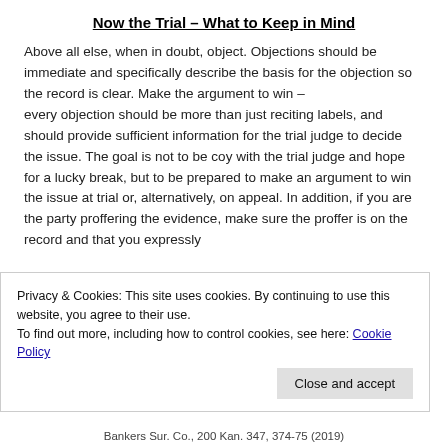Now the Trial – What to Keep in Mind
Above all else, when in doubt, object. Objections should be immediate and specifically describe the basis for the objection so the record is clear. Make the argument to win – every objection should be more than just reciting labels, and should provide sufficient information for the trial judge to decide the issue. The goal is not to be coy with the trial judge and hope for a lucky break, but to be prepared to make an argument to win the issue at trial or, alternatively, on appeal. In addition, if you are the party proffering the evidence, make sure the proffer is on the record and that you expressly
Privacy & Cookies: This site uses cookies. By continuing to use this website, you agree to their use.
To find out more, including how to control cookies, see here: Cookie Policy
Close and accept
Bankers Sur. Co., 200 Kan. 347, 374-75 (2019)